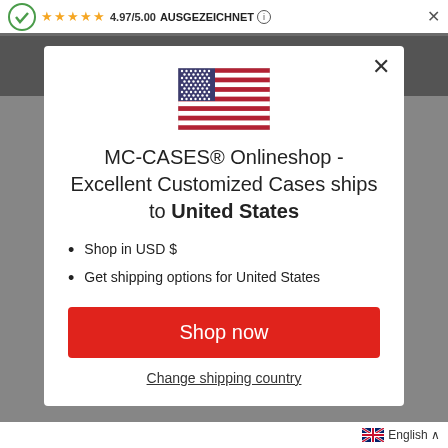4.97/5.00 AUSGEZEICHNET
[Figure (illustration): US flag illustration inside modal popup]
MC-CASES® Onlineshop - Excellent Customized Cases ships to United States
Shop in USD $
Get shipping options for United States
Shop now
Change shipping country
English